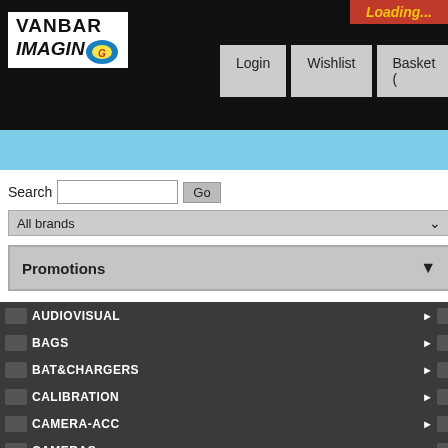[Figure (screenshot): Vanbar Imaging website header with logo, Login/Wishlist/Basket buttons, Loading... notification in red/yellow, light blue banner below]
Search  Go
All brands
Promotions
AUDIOVISUAL
BAGS
BAT&CHARGERS
CALIBRATION
CAMERA-ACC
CAMERAS
CASES
CHEMISTRY
DARKROOM
FILM
Home > STUDIO > BACKGROUND > COLL
MANFROTTO Large a
[Figure (photo): Two Manfrotto Pro Scrim products side by side: MLLC1101K (Pro Scrim All In One Kit 1.1x1.1m Small) and MLLC1201K (Pro Scrim All In One Kit 1.1x2m Medium)]
MLLC1101K
Pro Scrim All In One Kit
1.1x1.1m Small
MLLC1201K
Pro Scrim All In One Kit
1.1x2m Medium